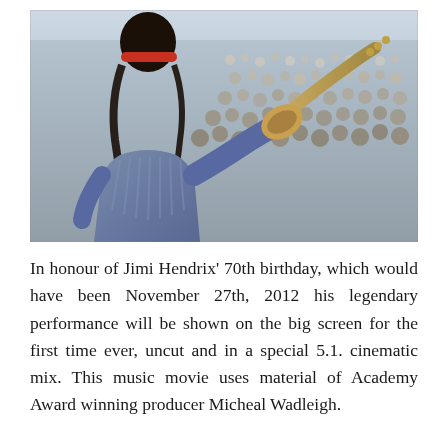[Figure (photo): A musician (Jimi Hendrix) seen from behind on stage, wearing a fringed blue outfit and a red headband, holding a guitar up, with a massive crowd of festival-goers visible in the background at Woodstock.]
In honour of Jimi Hendrix' 70th birthday, which would have been November 27th, 2012 his legendary performance will be shown on the big screen for the first time ever, uncut and in a special 5.1. cinematic mix. This music movie uses material of Academy Award winning producer Micheal Wadleigh.